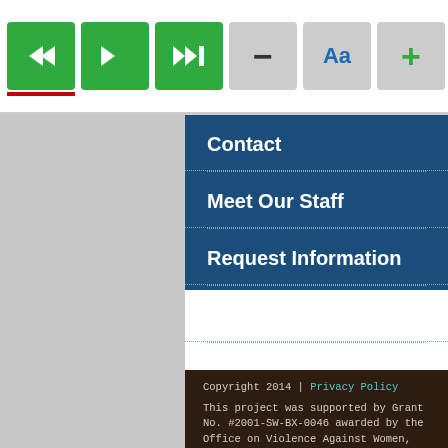[Figure (screenshot): Website toolbar with navigation buttons: back, forward, fast-forward (green), minus (gray), Aa font (gray), plus (gray), color wheel, flags/language selector (dark), separator, more, and X close (red)]
Contact
Meet Our Staff
Request Information
Request a Training
FEATURED EVENTS
Copyright 2014 | Privacy Policy
This project was supported by Grant No. #2001-SW-BX-0046 awarded by the Office on Violence Against Women, Office of Justice